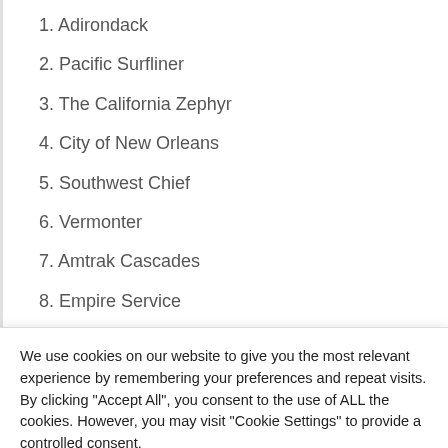1. Adirondack
2. Pacific Surfliner
3. The California Zephyr
4. City of New Orleans
5. Southwest Chief
6. Vermonter
7. Amtrak Cascades
8. Empire Service
We use cookies on our website to give you the most relevant experience by remembering your preferences and repeat visits. By clicking "Accept All", you consent to the use of ALL the cookies. However, you may visit "Cookie Settings" to provide a controlled consent.